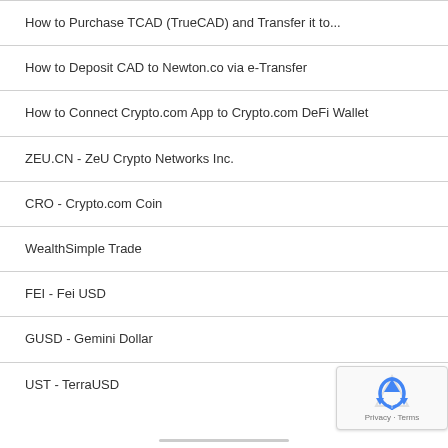How to Purchase TCAD (TrueCAD) and Transfer it to...
How to Deposit CAD to Newton.co via e-Transfer
How to Connect Crypto.com App to Crypto.com DeFi Wallet
ZEU.CN - ZeU Crypto Networks Inc.
CRO - Crypto.com Coin
WealthSimple Trade
FEI - Fei USD
GUSD - Gemini Dollar
UST - TerraUSD